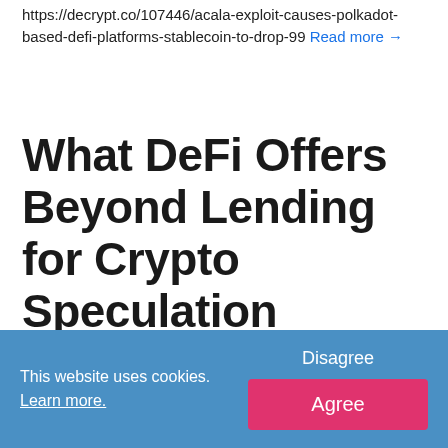https://decrypt.co/107446/acala-exploit-causes-polkadot-based-defi-platforms-stablecoin-to-drop-99 Read more →
What DeFi Offers Beyond Lending for Crypto Speculation
Sun Aug 14, 2022 by cryptonews in 🏷 ethereum, defi
DeFi advocates claim that his nascent industry will
This website uses cookies. Learn more. Disagree Agree